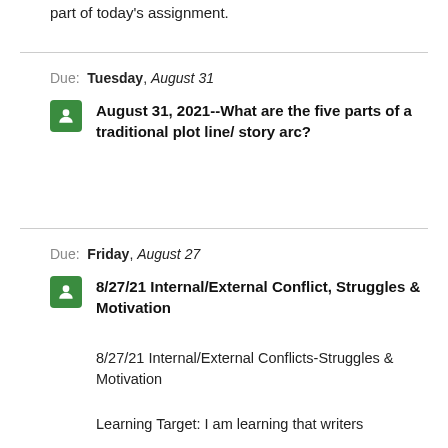part of today's assignment.
Due:  Tuesday, August 31
August 31, 2021--What are the five parts of a traditional plot line/ story arc?
Due:  Friday, August 27
8/27/21 Internal/External Conflict, Struggles & Motivation
8/27/21 Internal/External Conflicts-Struggles & Motivation
Learning Target: I am learning that writers develop characters before determining how they